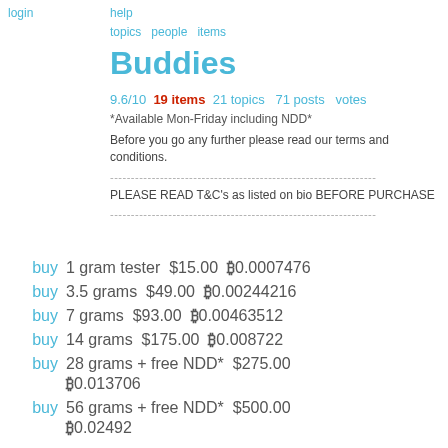login
help  topics  people  items
Buddies
9.6/10  19 items  21 topics  71 posts  votes
*Available Mon-Friday including NDD*
Before you go any further please read our terms and conditions.
PLEASE READ T&C's as listed on bio BEFORE PURCHASE
buy  1 gram tester  $15.00  ₿0.0007476
buy  3.5 grams  $49.00  ₿0.00244216
buy  7 grams  $93.00  ₿0.00463512
buy  14 grams  $175.00  ₿0.008722
buy  28 grams + free NDD*  $275.00  ₿0.013706
buy  56 grams + free NDD*  $500.00  ₿0.02492